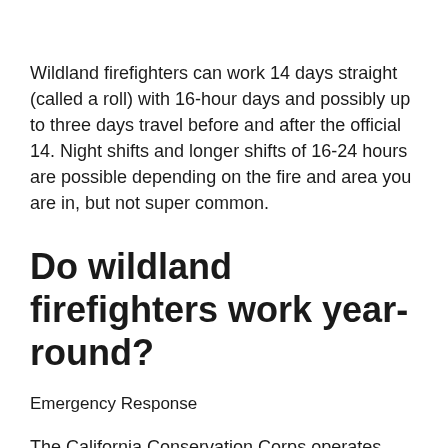Wildland firefighters can work 14 days straight (called a roll) with 16-hour days and possibly up to three days travel before and after the official 14. Night shifts and longer shifts of 16-24 hours are possible depending on the fire and area you are in, but not super common.
Do wildland firefighters work year-round?
Emergency Response
The California Conservation Corps operates more than two dozen wildland firefighting bases across. The CCC partners with CAL...